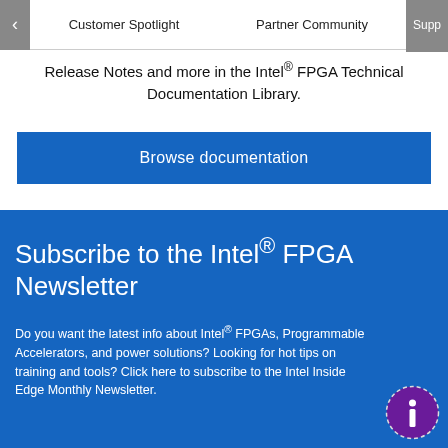< Customer Spotlight    Partner Community    Supp
Release Notes and more in the Intel® FPGA Technical Documentation Library.
Browse documentation
Subscribe to the Intel® FPGA Newsletter
Do you want the latest info about Intel® FPGAs, Programmable Accelerators, and power solutions? Looking for hot tips on training and tools? Click here to subscribe to the Intel Inside Edge Monthly Newsletter.